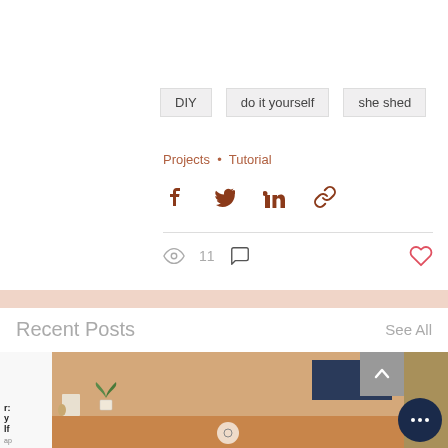DIY
do it yourself
she shed
Projects  •  Tutorial
[Figure (other): Social share icons: Facebook, Twitter, LinkedIn, link/chain]
[Figure (other): Stats row: eye icon with count 11, comment bubble icon; heart/like icon on right]
[Figure (other): Pink decorative horizontal bar]
Recent Posts
See All
[Figure (photo): Partial view of three post thumbnail images: left partial showing text, center showing orange desk with plant and monitor, right partial showing colorful items]